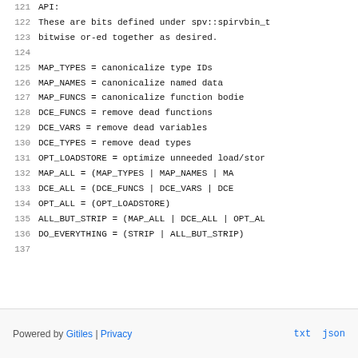121   API:
122       These are bits defined under spv::spirvbin_t
123       bitwise or-ed together as desired.
124
125       MAP_TYPES        = canonicalize type IDs
126       MAP_NAMES        = canonicalize named data
127       MAP_FUNCS        = canonicalize function bodies
128       DCE_FUNCS        = remove dead functions
129       DCE_VARS         = remove dead variables
130       DCE_TYPES        = remove dead types
131       OPT_LOADSTORE    = optimize unneeded load/store
132       MAP_ALL          = (MAP_TYPES | MAP_NAMES | MA
133       DCE_ALL          = (DCE_FUNCS | DCE_VARS | DCE
134       OPT_ALL          = (OPT_LOADSTORE)
135       ALL_BUT_STRIP    = (MAP_ALL | DCE_ALL | OPT_AL
136       DO_EVERYTHING    = (STRIP | ALL_BUT_STRIP)
137
Powered by Gitiles | Privacy    txt  json